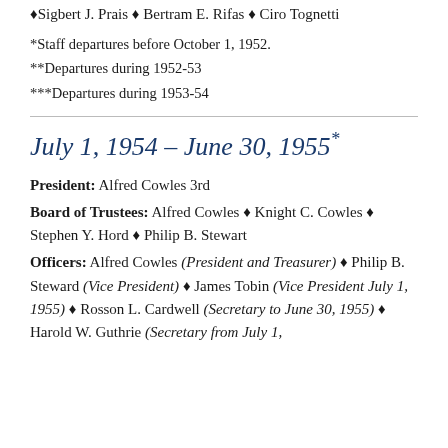♦Sigbert J. Prais ♦ Bertram E. Rifas ♦ Ciro Tognetti
*Staff departures before October 1, 1952.
**Departures during 1952-53
***Departures during 1953-54
July 1, 1954 – June 30, 1955*
President: Alfred Cowles 3rd
Board of Trustees: Alfred Cowles ♦ Knight C. Cowles ♦ Stephen Y. Hord ♦ Philip B. Stewart
Officers: Alfred Cowles (President and Treasurer) ♦ Philip B. Steward (Vice President) ♦ James Tobin (Vice President July 1, 1955) ♦ Rosson L. Cardwell (Secretary to June 30, 1955) ♦ Harold W. Guthrie (Secretary from July 1,